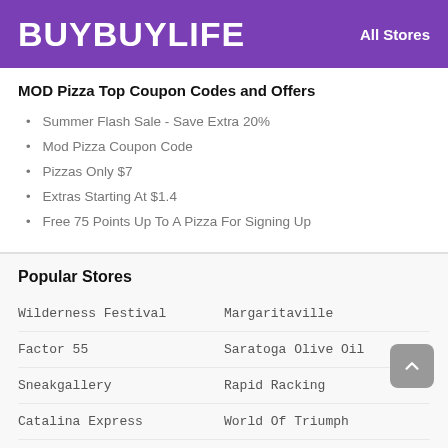BUYBUYLIFE   All Stores
MOD Pizza Top Coupon Codes and Offers
Summer Flash Sale - Save Extra 20%
Mod Pizza Coupon Code
Pizzas Only $7
Extras Starting At $1.4
Free 75 Points Up To A Pizza For Signing Up
Popular Stores
Wilderness Festival
Margaritaville
Factor 55
Saratoga Olive Oil
Sneakgallery
Rapid Racking
Catalina Express
World Of Triumph
BRAUN Hamburg
Truth Nutra